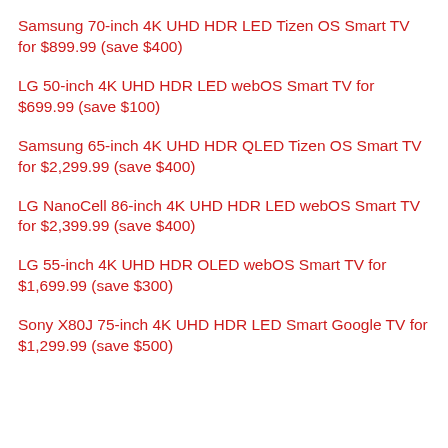Samsung 70-inch 4K UHD HDR LED Tizen OS Smart TV for $899.99 (save $400)
LG 50-inch 4K UHD HDR LED webOS Smart TV for $699.99 (save $100)
Samsung 65-inch 4K UHD HDR QLED Tizen OS Smart TV for $2,299.99 (save $400)
LG NanoCell 86-inch 4K UHD HDR LED webOS Smart TV for $2,399.99 (save $400)
LG 55-inch 4K UHD HDR OLED webOS Smart TV for $1,699.99 (save $300)
Sony X80J 75-inch 4K UHD HDR LED Smart Google TV for $1,299.99 (save $500)